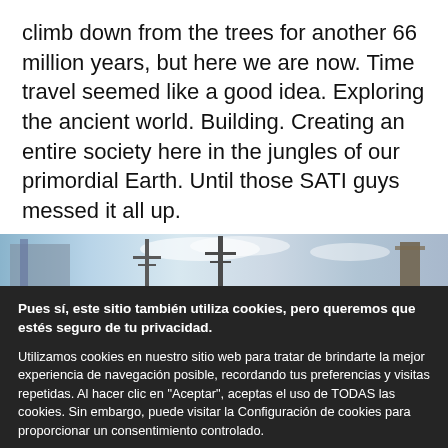climb down from the trees for another 66 million years, but here we are now. Time travel seemed like a good idea. Exploring the ancient world. Building. Creating an entire society here in the jungles of our primordial Earth. Until those SATI guys messed it all up.
[Figure (photo): A horizontal image strip showing structures/towers against a sky background]
Pues sí, este sitio también utiliza cookies, pero queremos que estés seguro de tu privacidad.
Utilizamos cookies en nuestro sitio web para tratar de brindarte la mejor experiencia de navegación posible, recordando tus preferencias y visitas repetidas. Al hacer clic en "Aceptar", aceptas el uso de TODAS las cookies. Sin embargo, puede visitar la Configuración de cookies para proporcionar un consentimiento controlado.
Aceptar todas
Configuración